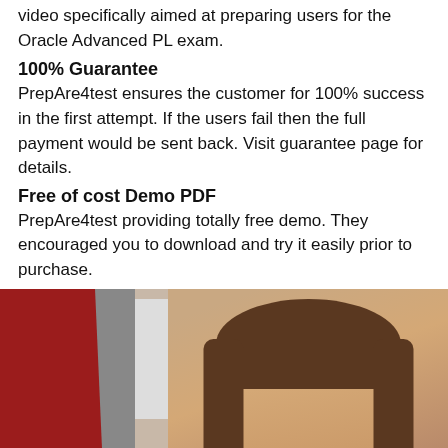video specifically aimed at preparing users for the Oracle Advanced PL exam.
100% Guarantee
PrepAre4test ensures the customer for 100% success in the first attempt. If the users fail then the full payment would be sent back. Visit guarantee page for details.
Free of cost Demo PDF
PrepAre4test providing totally free demo. They encouraged you to download and try it easily prior to purchase.
[Figure (photo): Professional woman with brown hair smiling, with a red diagonal design element and a laptop/screen in the background.]